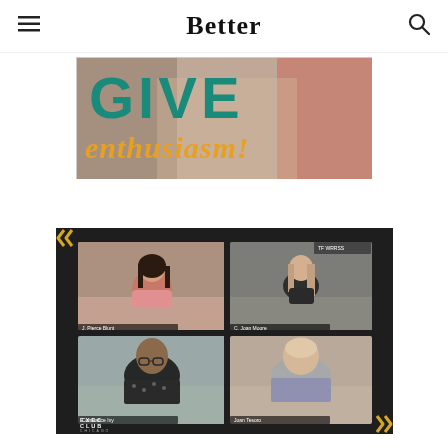Better
[Figure (photo): Promotional image with large teal text 'GIVE' and yellow italic cursive text 'enthusiasm!' overlaid on a photo background]
[Figure (screenshot): Screenshot of a video conference call with four participants in a 2x2 grid layout, with Exec Club Chicago branding and chevron decorations]